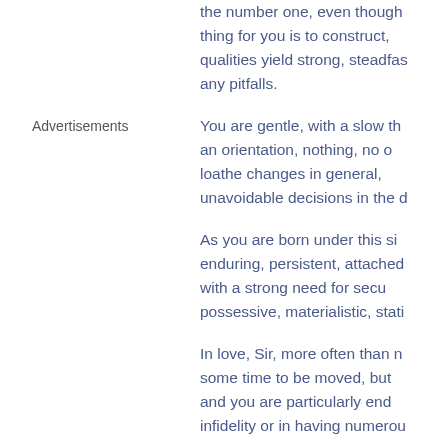the number one, even though the thing for you is to construct, qualities yield strong, steadfast any pitfalls.
Advertisements
You are gentle, with a slow th an orientation, nothing, no o loathe changes in general, unavoidable decisions in the d
As you are born under this si enduring, persistent, attached with a strong need for secu possessive, materialistic, stati
In love, Sir, more often than m some time to be moved, but and you are particularly end infidelity or in having numerou
Your love emerges slowly but